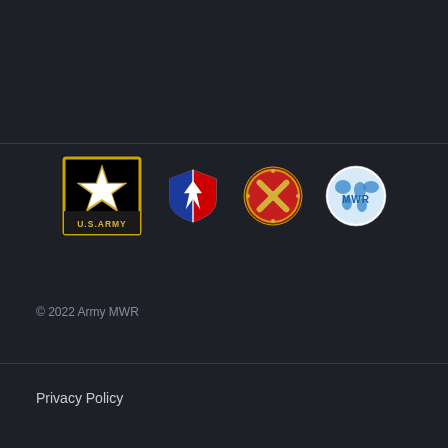[Figure (logo): US Army star logo with gold star on black background and 'U.S.ARMY' text]
[Figure (logo): Army Installation Management Command shield logo, red white and blue]
[Figure (logo): Army Artillery crossed cannons circular badge in red and gold]
[Figure (logo): Army MWR globe logo in blue and white]
© 2022 Army MWR
Privacy Policy